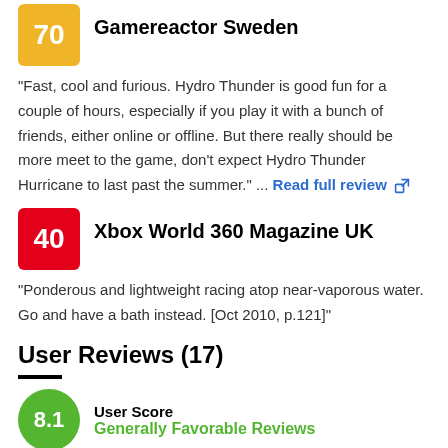[Figure (other): Score badge: yellow square with '70']
Gamereactor Sweden
"Fast, cool and furious. Hydro Thunder is good fun for a couple of hours, especially if you play it with a bunch of friends, either online or offline. But there really should be more meet to the game, don't expect Hydro Thunder Hurricane to last past the summer." ... Read full review
[Figure (other): Score badge: red square with '40']
Xbox World 360 Magazine UK
"Ponderous and lightweight racing atop near-vaporous water. Go and have a bath instead. [Oct 2010, p.121]"
User Reviews (17)
[Figure (other): User score badge: green circle with '8.1']
User Score
Generally Favorable Reviews